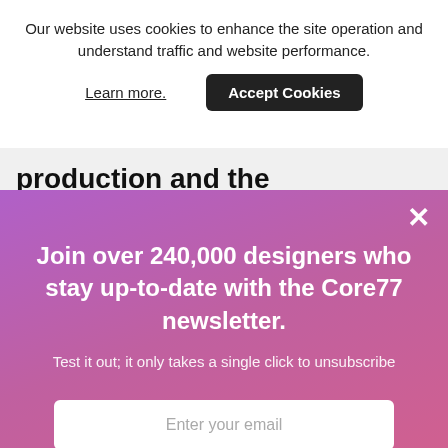Our website uses cookies to enhance the site operation and understand traffic and website performance.
Learn more.
Accept Cookies
production and the requirements of large, multinational firms. This is especially true at the
×
Join over 240,000 designers who stay up-to-date with the Core77 newsletter.
Test it out; it only takes a single click to unsubscribe
Enter your email
Subscribe